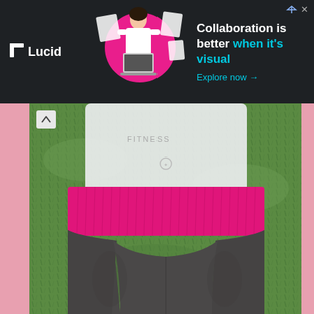[Figure (other): Lucid advertisement banner with dark background. Shows Lucid logo on left, illustration of a woman working at a laptop in the center, and text 'Collaboration is better when it's visual' with 'Explore now →' call to action on the right.]
[Figure (photo): Photo of a person from waist down standing on green grass. They are wearing a white fitness top (partially visible, covering upper torso), hot pink ribbed waistband yoga pants, and dark charcoal grey yoga/athletic leggings.]